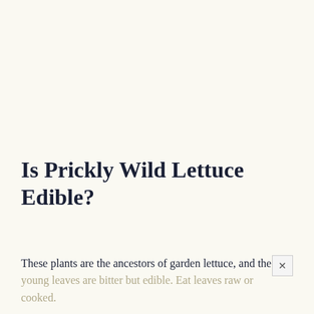Is Prickly Wild Lettuce Edible?
These plants are the ancestors of garden lettuce, and the young leaves are bitter but edible. Eat leaves raw or cooked.